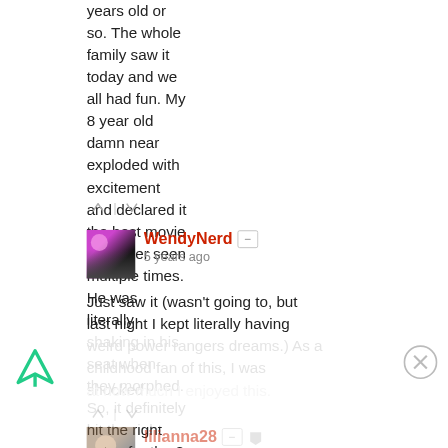years old or so. The whole family saw it today and we all had fun. My 8 year old damn near exploded with excitement and declared it the best movie he'd ever seen multiple times. He was literally shaking in his seat when they morphed. So, it definitely hit the right notes for the 8 year old demographic at least!
[Figure (screenshot): Vote up/down arrows with divider bar]
[Figure (screenshot): WendyNerd user avatar thumbnail - dark background with colorful image]
WendyNerd
5 years ago
Just saw it (wasn't going to, but last night I kept literally having weird power rangers dreams.) As a childhood fan of this, I was shocked at how much I enjoyed this.
[Figure (screenshot): Ad overlay with triangular logo icon and close (X) button]
[Figure (screenshot): Vote up/down arrows faded with divider bar]
[Figure (screenshot): lilianna28 user avatar thumbnail - partially visible]
lilianna28
5 years ago